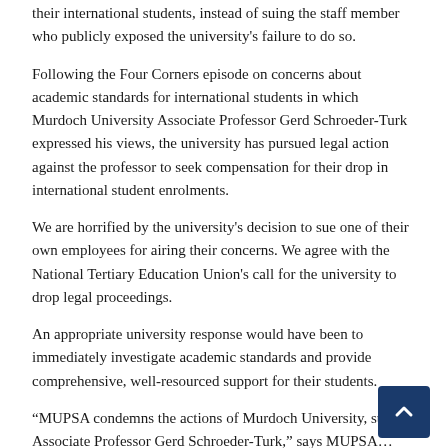their international students, instead of suing the staff member who publicly exposed the university's failure to do so.
Following the Four Corners episode on concerns about academic standards for international students in which Murdoch University Associate Professor Gerd Schroeder-Turk expressed his views, the university has pursued legal action against the professor to seek compensation for their drop in international student enrolments.
We are horrified by the university's decision to sue one of their own employees for airing their concerns. We agree with the National Tertiary Education Union's call for the university to drop legal proceedings.
An appropriate university response would have been to immediately investigate academic standards and provide comprehensive, well-resourced support for their students.
“MUPSA condemns the actions of Murdoch University, su… Associate Professor Gerd Schroeder-Turk,” says MUPSA…